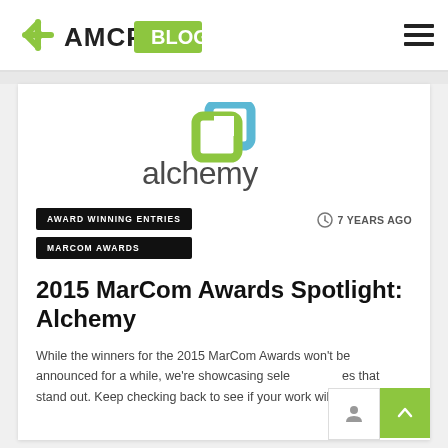AMCP BLOG
[Figure (logo): Alchemy company logo — two overlapping rounded-square brackets in green and blue, with the word 'alchemy' in dark gray below]
AWARD WINNING ENTRIES
7 YEARS AGO
MARCOM AWARDS
2015 MarCom Awards Spotlight: Alchemy
While the winners for the 2015 MarCom Awards won't be announced for a while, we're showcasing selected entries that stand out. Keep checking back to see if your work will be